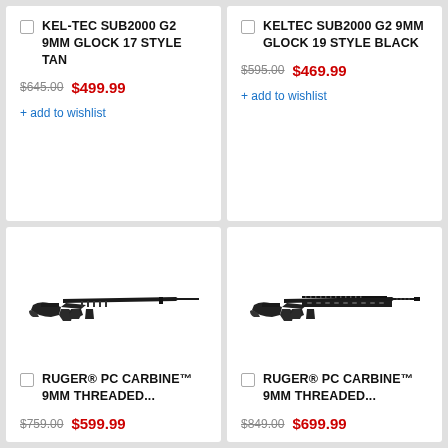KEL-TEC SUB2000 G2 9MM GLOCK 17 STYLE TAN
$645.00  $499.99
+ add to wishlist
KELTEC SUB2000 G2 9MM GLOCK 19 STYLE BLACK
$595.00  $469.99
+ add to wishlist
[Figure (photo): Ruger PC Carbine 9mm rifle, black synthetic stock, side profile view]
RUGER® PC CARBINE™ 9MM THREADED...
$759.00  $599.99
[Figure (photo): Ruger PC Carbine 9mm threaded barrel rifle with rail, black synthetic stock, side profile view]
RUGER® PC CARBINE™ 9MM THREADED...
$849.00  $699.99